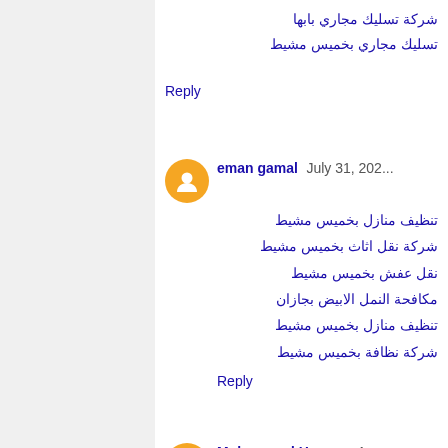شركة تسليك مجاري بابها / تسليك مجاري بخميس مشيط
Reply
eman gamal  July 31, 202...
تنظيف منازل بخميس مشيط / شركة نقل اثاث بخميس مشيط / نقل عفش بخميس مشيط / مكافحة النمل الابيض بجازان / تنظيف منازل بخميس مشيط / شركة نظافة بخميس مشيط
Reply
Muhammad Hassan  Au...
Positive site, where did u... a few of the articles on y... million and please keep u...
Reply